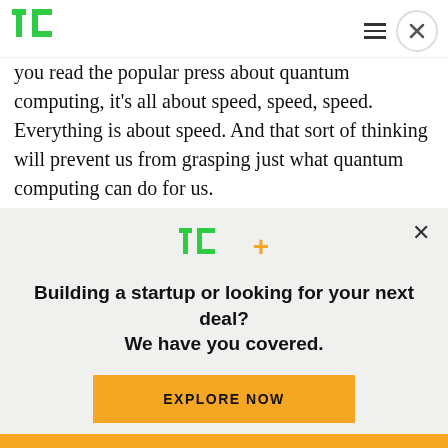TechCrunch header with logo and navigation icons
you read the popular press about quantum computing, it's all about speed, speed, speed. Everything is about speed. And that sort of thinking will prevent us from grasping just what quantum computing can do for us.
First of all, classical computing's preoccupation with speed is now viewed as antiquated and potentially
[Figure (other): TechCrunch TC+ subscription modal overlay with logo, headline 'Building a startup or looking for your next deal? We have you covered.' and 'EXPLORE NOW' button]